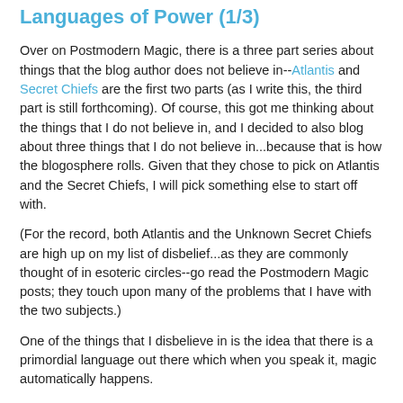Languages of Power (1/3)
Over on Postmodern Magic, there is a three part series about things that the blog author does not believe in--Atlantis and Secret Chiefs are the first two parts (as I write this, the third part is still forthcoming). Of course, this got me thinking about the things that I do not believe in, and I decided to also blog about three things that I do not believe in...because that is how the blogosphere rolls. Given that they chose to pick on Atlantis and the Secret Chiefs, I will pick something else to start off with.
(For the record, both Atlantis and the Unknown Secret Chiefs are high up on my list of disbelief...as they are commonly thought of in esoteric circles--go read the Postmodern Magic posts; they touch upon many of the problems that I have with the two subjects.)
One of the things that I disbelieve in is the idea that there is a primordial language out there which when you speak it, magic automatically happens.